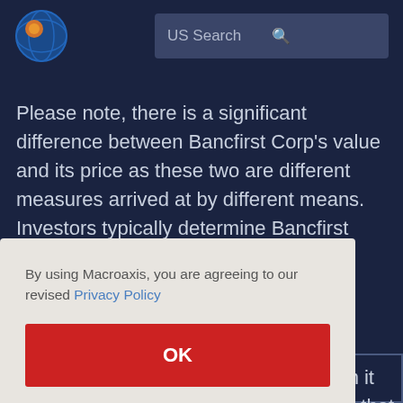[Figure (logo): Macroaxis globe logo with orange and blue colors]
US Search
Please note, there is a significant difference between Bancfirst Corp's value and its price as these two are different measures arrived at by different means. Investors typically determine Bancfirst Corp value by looking at such [al] [.] [ch it] [er that]
By using Macroaxis, you are agreeing to our revised Privacy Policy
OK